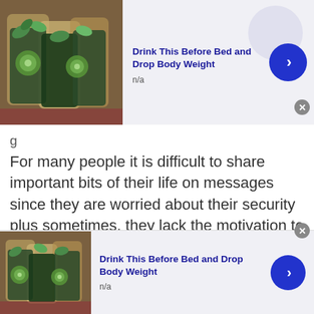[Figure (screenshot): Top advertisement banner showing 'Drink This Before Bed and Drop Body Weight' with a photo of green drinks/cucumber water jars, n/a subtitle, blue arrow button, and close X button]
For many people it is difficult to share important bits of their life on messages since they are worried about their security plus sometimes, they lack the motivation to do so. Audio chat app by TWS can help you lead your communication to a meaningful end, where you can make
[Figure (screenshot): Bottom advertisement banner showing 'Drink This Before Bed and Drop Body Weight' with a photo of green drinks/cucumber water jars, n/a subtitle, blue arrow button, and close X button]